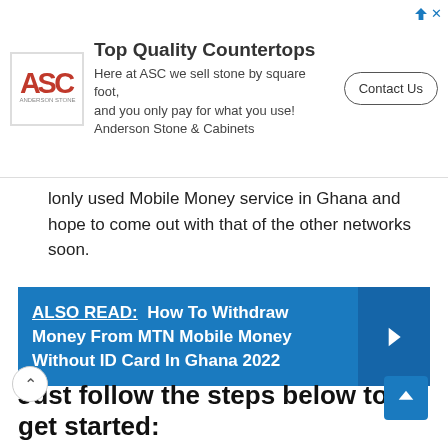[Figure (other): ASC (Anderson Stone & Cabinets) advertisement banner with logo, text 'Top Quality Countertops', body text, and Contact Us button]
lonly used Mobile Money service in Ghana and hope to come out with that of the other networks soon.
ALSO READ: How To Withdraw Money From MTN Mobile Money Without ID Card In Ghana 2022
Just follow the steps below to get started:
1. Dial *170#
2. Select the option 2- [MoMoPay & Pay Bill]
3. Choose #2 – [Pay Bill]